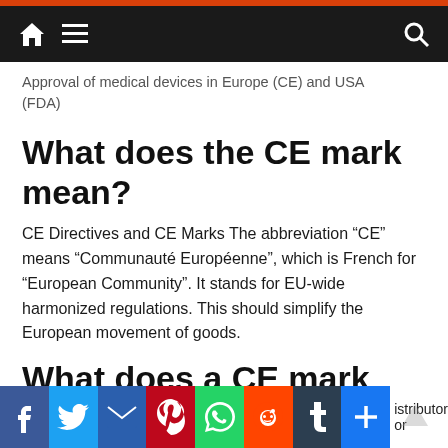Approval of medical devices in Europe (CE) and USA (FDA)
What does the CE mark mean?
CE Directives and CE Marks The abbreviation “CE” means “Communauté Européenne”, which is French for “European Community”. It stands for EU-wide harmonized regulations. This should simplify the European movement of goods.
What does a CE mark require?
distributor or